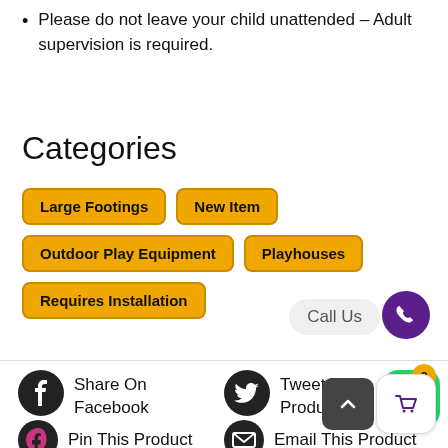Please do not leave your child unattended – Adult supervision is required.
Categories
Large Footings
New Item
Outdoor Play Equipment
Playhouses
Requires Installation
Call Us
Share On Facebook
Tweet This Product
Pin This Product
Email This Product